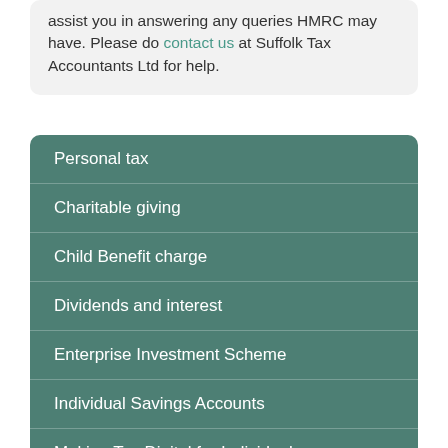assist you in answering any queries HMRC may have. Please do contact us at Suffolk Tax Accountants Ltd for help.
Personal tax
Charitable giving
Child Benefit charge
Dividends and interest
Enterprise Investment Scheme
Individual Savings Accounts
Making Tax Digital for Individuals